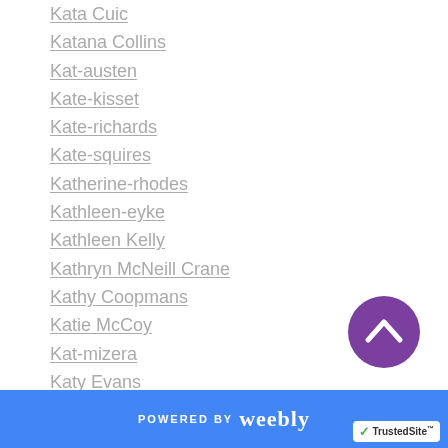Kata Cuic
Katana Collins
Kat-austen
Kate-kisset
Kate-richards
Kate-squires
Katherine-rhodes
Kathleen-eyke
Kathleen Kelly
Kathryn McNeill Crane
Kathy Coopmans
Katie McCoy
Kat-mizera
Katy Evans
Katy Regnery
Kaye Blue
Kaylee Ryan
POWERED BY weebly | TrustedSite